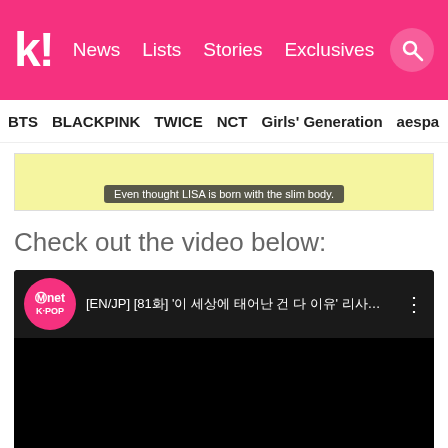kpop k! News Lists Stories Exclusives
BTS BLACKPINK TWICE NCT Girls' Generation aespa
[Figure (screenshot): Yellow-background image strip with subtitle caption: 'Even thought LISA is born with the slim body.']
Check out the video below:
[Figure (screenshot): Embedded YouTube video player with Mnet K-POP logo and title '[EN/JP] [81화] '이 세상에 태어난 건 다 이유' 리사마저 놀라... in dark/black player interface]